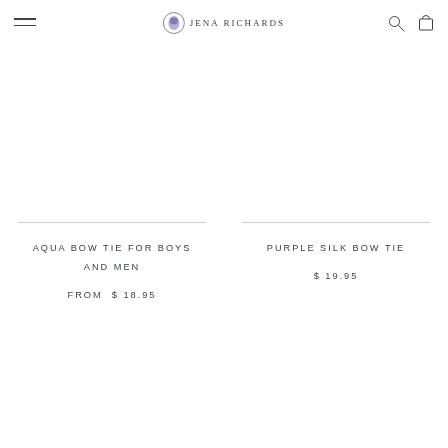Jena Richards
AQUA BOW TIE FOR BOYS AND MEN
FROM $ 18.95
PURPLE SILK BOW TIE
$ 19.95